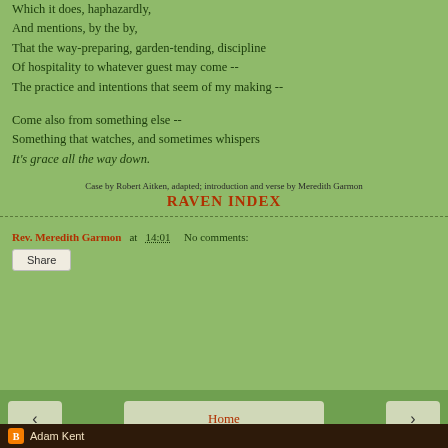Which it does, haphazardly,
And mentions, by the by,
That the way-preparing, garden-tending, discipline
Of hospitality to whatever guest may come --
The practice and intentions that seem of my making --

Come also from something else --
Something that watches, and sometimes whispers
It's grace all the way down.
Case by Robert Aitken, adapted; introduction and verse by Meredith Garmon
RAVEN INDEX
Rev. Meredith Garmon at 14:01   No comments:
Share
Home
View web version
Adam Kent